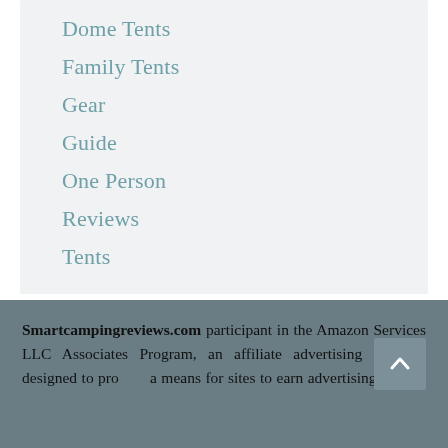Dome Tents
Family Tents
Gear
Guide
One Person
Reviews
Tents
Smartcampingreviews.com participant in the Amazon Services LLC Associates Program, an affiliate advertising program designed to provide a means for sites to earn advertising fees by advertising and linking to Amazon.com